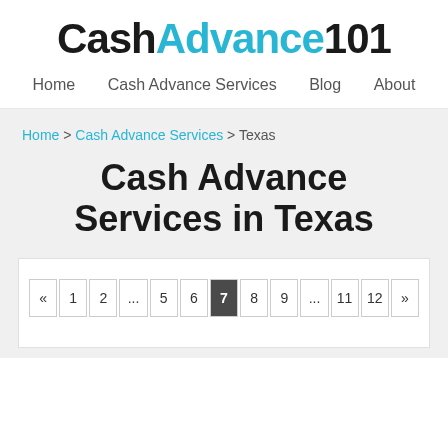CashAdvance101
Home   Cash Advance Services   Blog   About
Home > Cash Advance Services > Texas
Cash Advance Services in Texas
« 1 2 ... 5 6 7 8 9 ... 11 12 »